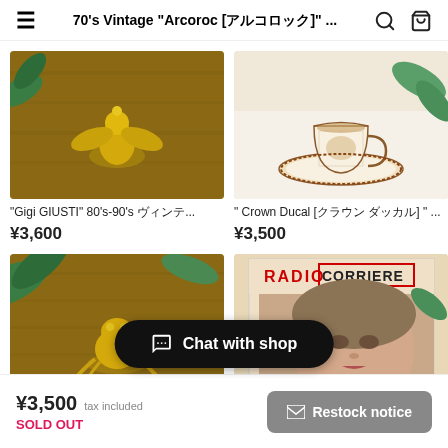70's Vintage "Arcoroc [アルコロック]" ...
[Figure (photo): Gold angel figurine on wooden surface with green leaves]
"Gigi GIUSTI" 80's-90's ヴィンテージ...
¥3,600
[Figure (photo): Crown Ducal decorative tea cup and saucer with floral pattern on white cloth]
" Crown Ducal [クラウン ダッカル] " ...
¥3,500
[Figure (photo): Gold frog figurine on wooden surface with green leaves]
[Figure (photo): Radio Corriere vintage magazine cover with woman's face]
Chat with shop
¥3,500  tax included
SOLD OUT
Restock notice